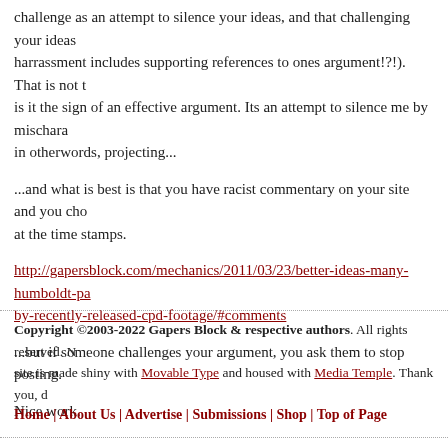challenge as an attempt to silence your ideas, and that challenging your ideas harrassment includes supporting references to ones argument!?!). That is not is it the sign of an effective argument. Its an attempt to silence me by mischara in otherwords, projecting...
...and what is best is that you have racist commentary on your site and you cho at the time stamps.
http://gapersblock.com/mechanics/2011/03/23/better-ideas-many-humboldt-pa by-recently-released-cpd-footage/#comments
...but if someone challenges your argument, you ask them to stop posting.
Nice work.
Copyright ©2003-2022 Gapers Block & respective authors. All rights reserved. N site is made shiny with Movable Type and housed with Media Temple. Thank you, d Home | About Us | Advertise | Submissions | Shop | Top of Page